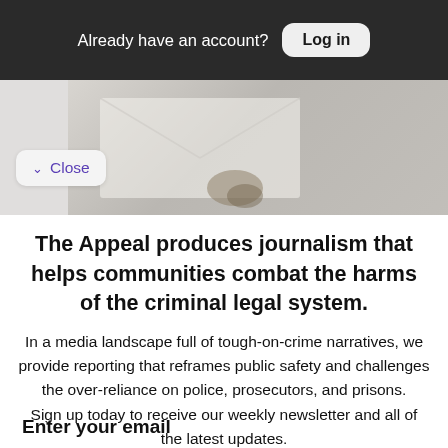Already have an account? Log in
[Figure (photo): A blurred/light photo of an object on a light background, partially visible behind a modal overlay.]
Close
The Appeal produces journalism that helps communities combat the harms of the criminal legal system.
In a media landscape full of tough-on-crime narratives, we provide reporting that reframes public safety and challenges the over-reliance on police, prosecutors, and prisons. Sign up today to receive our weekly newsletter and all of the latest updates.
Enter your email